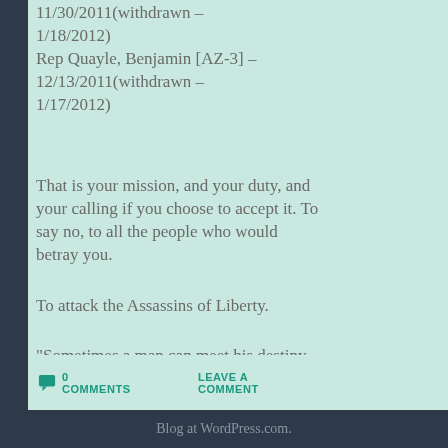11/30/2011(withdrawn – 1/18/2012)
Rep Quayle, Benjamin [AZ-3] – 12/13/2011(withdrawn – 1/17/2012)
That is your mission, and your duty, and your calling if you choose to accept it. To say no, to all the people who would betray you.
To attack the Assassins of Liberty.
“Sometimes a man can meet his destiny, on the road he took to avoid it.”— The International
0 COMMENTS
LEAVE A COMMENT
Blog at WordPress.com.